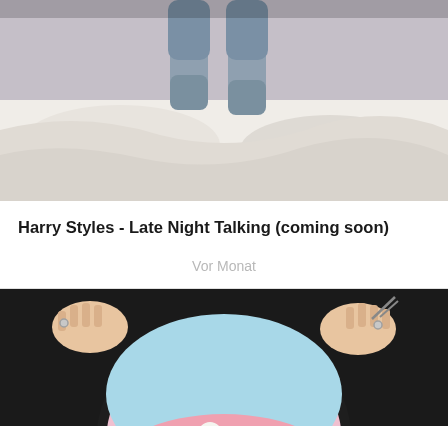[Figure (photo): Person standing on a messy bed with white sheets and pillows, wearing blue/grey socks and jeans, dark/grey room background.]
Harry Styles - Late Night Talking (coming soon)
Vor Monat
[Figure (photo): Two hands holding a vinyl record with colorful album artwork showing a figure (Harry Styles) in white pants on a pink surface with blue background, against a dark/black background.]